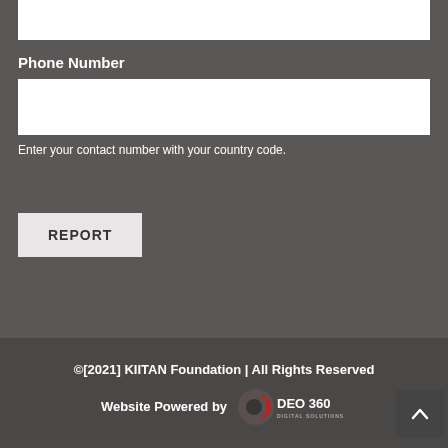Phone Number
Enter your contact number with your country code.
REPORT
©[2021] KIITAN Foundation | All Rights Reserved
Website Powered by DEO 360 DIGITAL SOLUTIONS